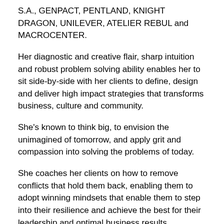S.A., GENPACT, PENTLAND, KNIGHT DRAGON, UNILEVER, ATELIER REBUL and MACROCENTER.
Her diagnostic and creative flair, sharp intuition and robust problem solving ability enables her to sit side-by-side with her clients to define, design and deliver high impact strategies that transforms business, culture and community.
She's known to think big, to envision the unimagined of tomorrow, and apply grit and compassion into solving the problems of today.
She coaches her clients on how to remove conflicts that hold them back, enabling them to adopt winning mindsets that enable them to step into their resilience and achieve the best for their leadership and optimal business results.